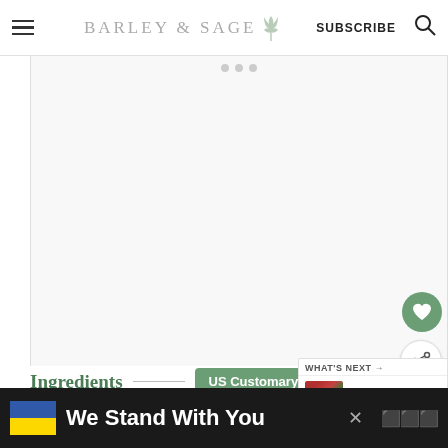BARLEY & SAGE  SUBSCRIBE
[Figure (photo): Large white/blank image area with slide navigation dots at top and a favorite heart button and share button on the right side]
Ingredients
US Customary  Metric
½  1x  2x  3x
Roasted Veggies
[Figure (screenshot): WHAT'S NEXT popup showing Pomegranate Spinach Sal... with a small thumbnail image]
We Stand With You